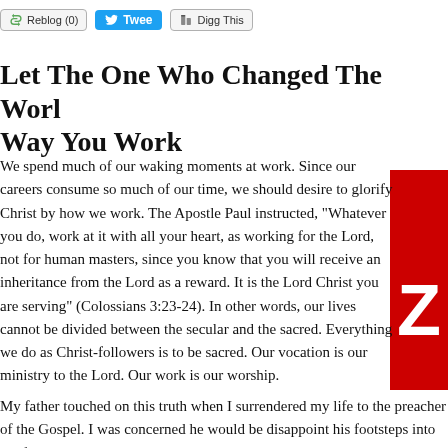Reblog (0)  Tweet  Digg This
Let The One Who Changed The World Change The Way You Work
We spend much of our waking moments at work. Since our careers consume so much of our time, we should desire to glorify Christ by how we work. The Apostle Paul instructed, "Whatever you do, work at it with all your heart, as working for the Lord, not for human masters, since you know that you will receive an inheritance from the Lord as a reward. It is the Lord Christ you are serving" (Colossians 3:23-24). In other words, our lives cannot be divided between the secular and the sacred. Everything we do as Christ-followers is to be sacred. Our vocation is our ministry to the Lord. Our work is our worship.
My father touched on this truth when I surrendered my life to the preacher of the Gospel. I was concerned he would be disappointed his footsteps into the family business. I was seventeen when he